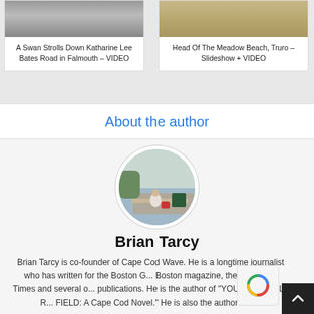[Figure (photo): Photo of a road, partially cropped at top, card for 'A Swan Strolls Down Katharine Lee Bates Road in Falmouth – VIDEO']
A Swan Strolls Down Katharine Lee Bates Road in Falmouth – VIDEO
[Figure (photo): Photo of a sandy beach, partially cropped at top, card for 'Head Of The Meadow Beach, Truro – Slideshow + VIDEO']
Head Of The Meadow Beach, Truro – Slideshow + VIDEO
About the author
[Figure (photo): Circular avatar photo of Brian Tarcy sitting by the water on Cape Cod]
Brian Tarcy
Brian Tarcy is co-founder of Cape Cod Wave. He is a longtime journalist who has written for the Boston G... Boston magazine, the Cape Cod Times and several o... publications. He is the author of "YOU CAN'T SELL R... FIELD: A Cape Cod Novel." He is also the author or c...